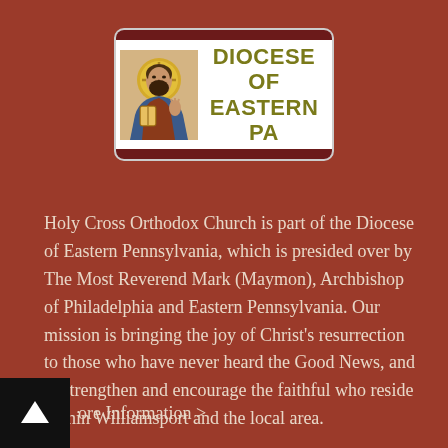[Figure (logo): Diocese of Eastern PA logo with an icon of Christ on the left and 'DIOCESE OF EASTERN PA' text on the right, framed by dark red horizontal bars on a white rounded rectangle background.]
Holy Cross Orthodox Church is part of the Diocese of Eastern Pennsylvania, which is presided over by The Most Reverend Mark (Maymon), Archbishop of Philadelphia and Eastern Pennsylvania. Our mission is bringing the joy of Christ's resurrection to those who have never heard the Good News, and to strengthen and encourage the faithful who reside within Williamsport and the local area.
More Information >